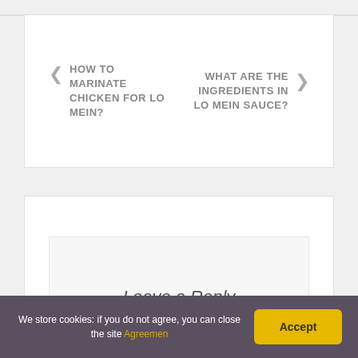HOW TO MARINATE CHICKEN FOR LO MEIN?
WHAT ARE THE INGREDIENTS IN LO MEIN SAUCE?
Leave a Reply
We store cookies: if you do not agree, you can close the site Agreemen
Accept